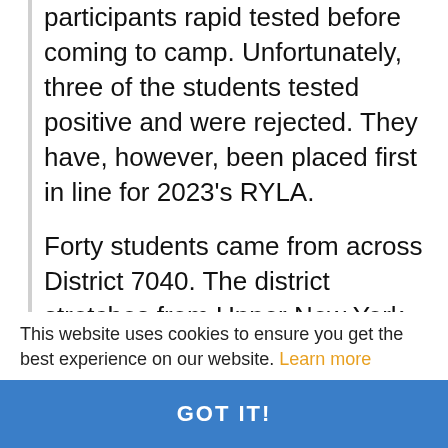participants rapid tested before coming to camp. Unfortunately, three of the students tested positive and were rejected. They have, however, been placed first in line for 2023's RYLA.
Forty students came from across District 7040. The district stretches from Upper New York State to Baffin Island. Students attended: from Quebec, 7; New York State, 7; Eastern Ontario, 26; Nunavut, 0. As usual, there were twice as many girls as boys. Students represented a range of cultures, languages, and countries, including an exchange student from Germany. Jacob Mitchell with the help of the Rotary Club of Plattsburgh travelled the furthest taking 4 ½ hours, including navigating the Canadian border, to get to the camp.
This website uses cookies to ensure you get the best experience on our website. Learn more